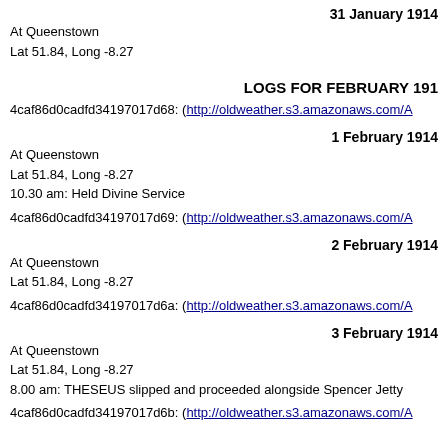31 January 1914
At Queenstown
Lat 51.84, Long -8.27
LOGS FOR FEBRUARY 191…
4caf86d0cadfd34197017d68: (http://oldweather.s3.amazonaws.com/A…)
1 February 1914
At Queenstown
Lat 51.84, Long -8.27
10.30 am: Held Divine Service
4caf86d0cadfd34197017d69: (http://oldweather.s3.amazonaws.com/A…)
2 February 1914
At Queenstown
Lat 51.84, Long -8.27
4caf86d0cadfd34197017d6a: (http://oldweather.s3.amazonaws.com/A…)
3 February 1914
At Queenstown
Lat 51.84, Long -8.27
8.00 am: THESEUS slipped and proceeded alongside Spencer Jetty
4caf86d0cadfd34197017d6b: (http://oldweather.s3.amazonaws.com/A…)